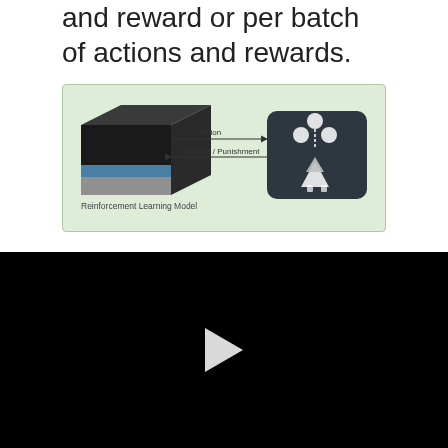and reward or per batch of actions and rewards.
[Figure (schematic): Reinforcement learning model diagram showing a 3D box (agent) with an arrow labeled 'Action' pointing right to a dark rounded square (environment with game icons), and an arrow labeled 'Reward / Punishment' pointing left back to the agent. Caption below reads 'Reinforcement Learning Model'.]
Some algorithms for reinforcement learning are:
[Figure (other): Black video player area with a white play button triangle in the center.]